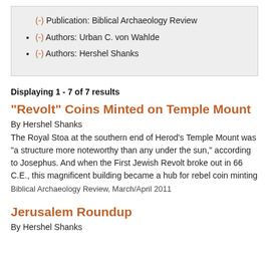(-) Publication: Biblical Archaeology Review
(-) Authors: Urban C. von Wahlde
(-) Authors: Hershel Shanks
Displaying 1 - 7 of 7 results
“Revolt” Coins Minted on Temple Mount
By Hershel Shanks
The Royal Stoa at the southern end of Herod’s Temple Mount was “a structure more noteworthy than any under the sun,” according to Josephus. And when the First Jewish Revolt broke out in 66 C.E., this magnificent building became a hub for rebel coin minting
Biblical Archaeology Review, March/April 2011
Jerusalem Roundup
By Hershel Shanks